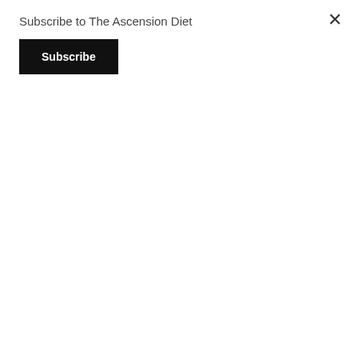Subscribe to The Ascension Diet
Subscribe
MrMBB333 mRNA msm Mud Flood municipal murder music My Interviews Mystery Babylon Mystery School mythology my writing nachash Nag Hammadi nano nanobots nanotechnology nanotechnology and synthetic biology narcissism narcissist narrative NASA NASA lies National Public Radio natural natural flavoring Natural News nature naturopath Nebro Nemesis Nephilim nephilim world rulers New Age New Age psyop new earth news new world order New York New York City Nibiru